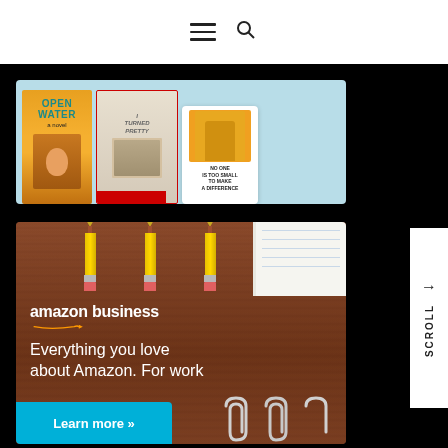Navigation header with hamburger menu and search icon
[Figure (photo): Book covers banner: Open Water (orange cover with teal title), I Turned Pretty (cream/red cover), and a white card with a person in yellow jacket]
[Figure (photo): Amazon Business advertisement banner on wood-texture background with pencils at top. Text: 'amazon business' with arrow logo, 'Everything you love about Amazon. For work', 'Learn more »' button in teal. Paperclips visible at bottom right.]
amazon business
Everything you love about Amazon. For work
Learn more »